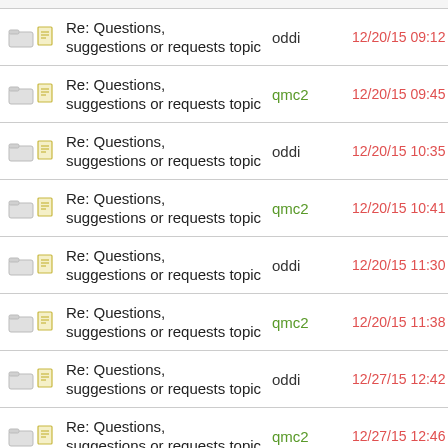Re: Questions, suggestions or requests topic | oddi | 12/20/15 09:12 AM
Re: Questions, suggestions or requests topic | qmc2 | 12/20/15 09:45 AM
Re: Questions, suggestions or requests topic | oddi | 12/20/15 10:35 AM
Re: Questions, suggestions or requests topic | qmc2 | 12/20/15 10:41 AM
Re: Questions, suggestions or requests topic | oddi | 12/20/15 11:30 AM
Re: Questions, suggestions or requests topic | qmc2 | 12/20/15 11:38 AM
Re: Questions, suggestions or requests topic | oddi | 12/27/15 12:42 PM
Re: Questions, suggestions or requests topic | qmc2 | 12/27/15 12:46 PM
Re: Questions, suggestions or requests topic | oddi | 12/27/15 01:06 PM
Re: Questions, suggestions or requests topic | qmc2 | 12/27/15 01:09 PM